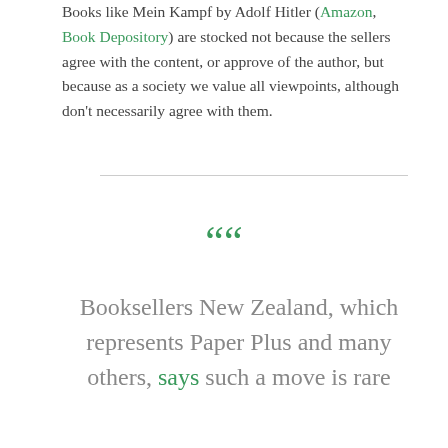Books like Mein Kampf by Adolf Hitler (Amazon, Book Depository) are stocked not because the sellers agree with the content, or approve of the author, but because as a society we value all viewpoints, although don't necessarily agree with them.
““ Booksellers New Zealand, which represents Paper Plus and many others, says such a move is rare